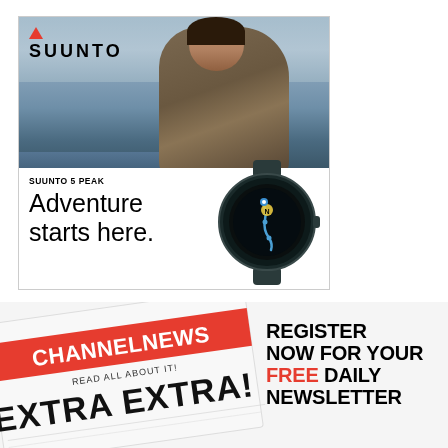[Figure (photo): Suunto advertisement featuring a woman running outdoors near water with cloudy sky, Suunto logo in upper left, and Suunto 5 Peak smartwatch shown in lower right. Text reads 'SUUNTO 5 PEAK Adventure starts here.']
[Figure (photo): ChannelNews advertisement showing a newspaper with red banner reading 'CHANNELNEWS', text 'READ ALL ABOUT IT!' and 'EXTRA EXTRA!'. Right side text reads 'REGISTER NOW FOR YOUR FREE DAILY NEWSLETTER']